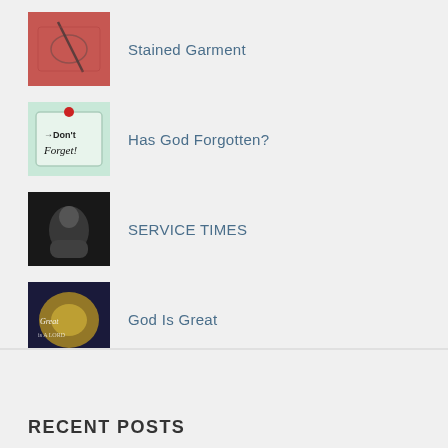Stained Garment
Has God Forgotten?
SERVICE TIMES
God Is Great
Mr. Fix It
Giving
RECENT POSTS